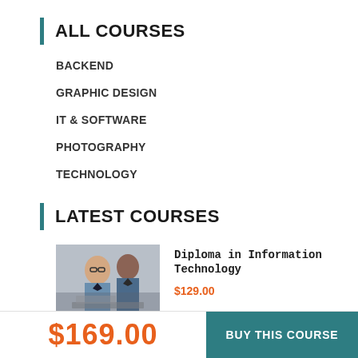ALL COURSES
BACKEND
GRAPHIC DESIGN
IT & SOFTWARE
PHOTOGRAPHY
TECHNOLOGY
LATEST COURSES
[Figure (photo): Two men in business attire, one with glasses, working at a desk with laptops]
Diploma in Information Technology
$129.00
$169.00
BUY THIS COURSE